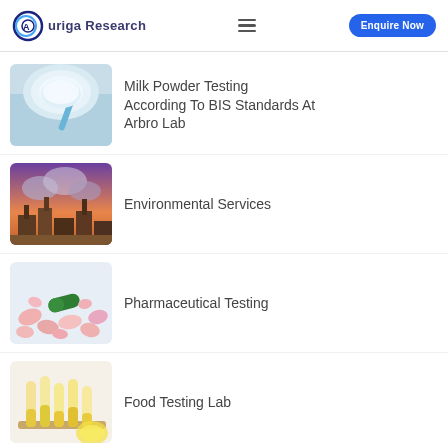Auriga Research | Enquire Now
Milk Powder Testing According To BIS Standards At Arbro Lab
Environmental Services
Pharmaceutical Testing
Food Testing Lab